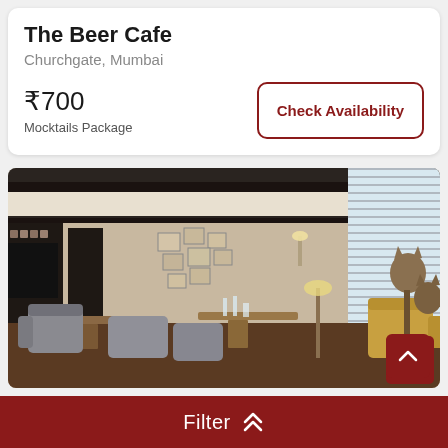The Beer Cafe
Churchgate, Mumbai
₹700
Mocktails Package
Check Availability
[Figure (photo): Interior of a modern restaurant/bar with grey and yellow armchairs, dining tables set with glasses and cutlery, dark shelving units on walls with framed photos, pendant lamps, and large windows with blinds on the right side. Decorative fox/animal head sculptures on tall stands visible on the right.]
Filter